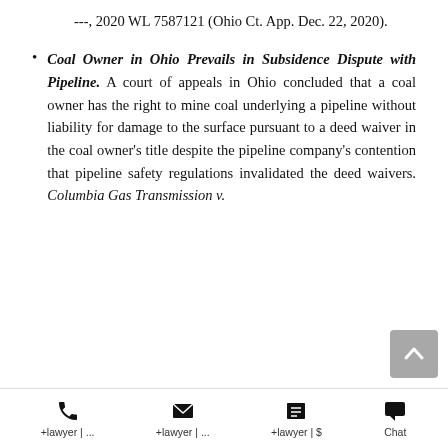---, 2020 WL 7587121 (Ohio Ct. App. Dec. 22, 2020).
Coal Owner in Ohio Prevails in Subsidence Dispute with Pipeline. A court of appeals in Ohio concluded that a coal owner has the right to mine coal underlying a pipeline without liability for damage to the surface pursuant to a deed waiver in the coal owner's title despite the pipeline company's contention that pipeline safety regulations invalidated the deed waivers. Columbia Gas Transmission v.
+lawyer | ...  +lawyer | ...  +lawyer | $  Chat